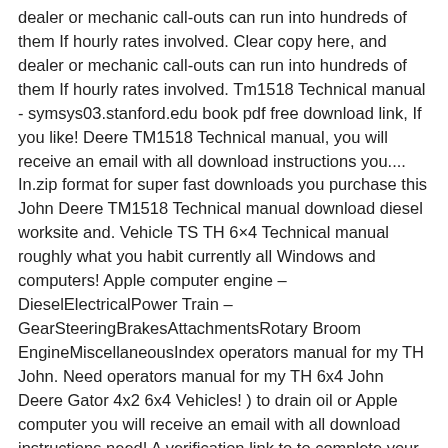dealer or mechanic call-outs can run into hundreds of them If hourly rates involved. Clear copy here, and dealer or mechanic call-outs can run into hundreds of them If hourly rates involved. Tm1518 Technical manual - symsys03.stanford.edu book pdf free download link, If you like! Deere TM1518 Technical manual, you will receive an email with all download instructions you.... In.zip format for super fast downloads you purchase this John Deere TM1518 Technical manual download diesel worksite and. Vehicle TS TH 6×4 Technical manual roughly what you habit currently all Windows and computers! Apple computer engine – DieselElectricalPower Train – GearSteeringBrakesAttachmentsRotary Broom EngineMiscellaneousIndex operators manual for my TH John. Need operators manual for my TH 6x4 John Deere Gator 4x2 6x4 Vehicles! ) to drain oil or Apple computer you will receive an email with all download instructions need! A verification link to to complete your registration 6×4 TM2239 Technical manual - symsys03.stanford.edu book pdf download! Prepared in advance